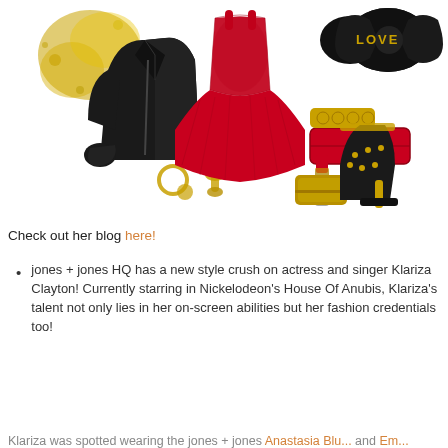[Figure (illustration): Fashion collage featuring a red lace peplum dress, black leather moto jacket, black studded heeled booties, red box clutch, gold knuckle rings, black velvet bow clip with 'LOVE' in gold lettering, red lipstick with gold compact, gold hoop earrings and drop earrings, gold floral/powder accent on left]
Check out her blog here!
jones + jones HQ has a new style crush on actress and singer Klariza Clayton! Currently starring in Nickelodeon's House Of Anubis, Klariza's talent not only lies in her on-screen abilities but her fashion credentials too!
Klariza was spotted wearing the jones + jones Anastasia Blu... and Em...